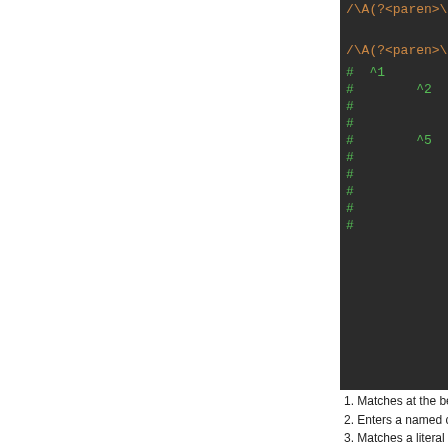[Figure (screenshot): Dark-themed code editor panel showing a regex pattern in orange/salmon color followed by numbered comment lines in green. The regex starts with /\A(?<paren>\(\g< and comment lines show # ^1 through # ^6 and additional # lines.]
1. Matches at the begin...
2. Enters a named capt...
3. Matches a literal (, t...
4. Calls the paren grou...
5. Re-enters the paren ...